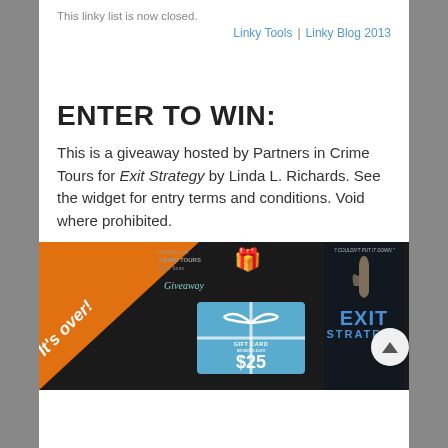This linky list is now closed.
Linky Tools | Linky Blog 2013
ENTER TO WIN:
This is a giveaway hosted by Partners in Crime Tours for Exit Strategy by Linda L. Richards. See the widget for entry terms and conditions. Void where prohibited.
[Figure (photo): Promotional banner for Exit Strategy giveaway by Partners in Crime Tours. Shows an orange diagonal ribbon with 'It's over!' text, a $25 Amazon gift card, and the Exit Strategy book cover with blue title text on dark background.]